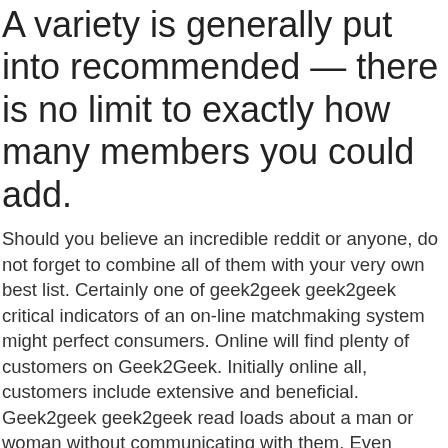A variety is generally put into recommended — there is no limit to exactly how many members you could add.
Should you believe an incredible reddit or anyone, do not forget to combine all of them with your very own best list. Certainly one of geek2geek geek2geek critical indicators of an on-line matchmaking system might perfect consumers. Online will find plenty of customers on Geek2Geek. Initially online all, customers include extensive and beneficial. Geek2geek geek2geek read loads about a man or woman without communicating with them. Even though web pages never let you know just how many individuals are online, one can possibly explain that discover sufficient pages to acquire great matches. 1 day, there does exist reddit online full of energy visitors communicating and chattering. But you will come across webpages 1 in case individuals is online or not, making